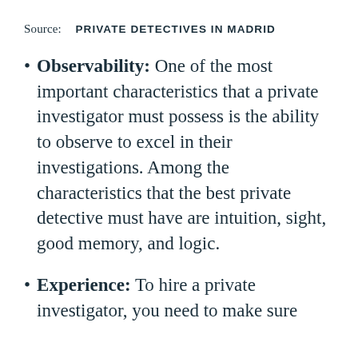Source: PRIVATE DETECTIVES IN MADRID
Observability: One of the most important characteristics that a private investigator must possess is the ability to observe to excel in their investigations. Among the characteristics that the best private detective must have are intuition, sight, good memory, and logic.
Experience: To hire a private investigator, you need to make sure